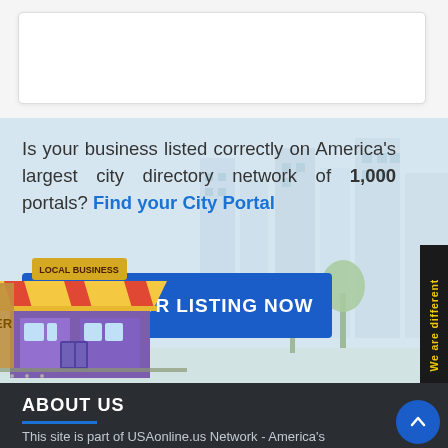[Figure (illustration): White card area at top of page]
Is your business listed correctly on America's largest city directory network of 1,000 portals? Find your City Portal
[Figure (illustration): Blue claim listing button: CLAIM YOUR LISTING NOW]
[Figure (illustration): Cartoon local business store illustration at bottom left of banner]
[Figure (illustration): Black vertical side tab with yellow text: We are different]
ABOUT US
This site is part of USAonline.us Network - America's